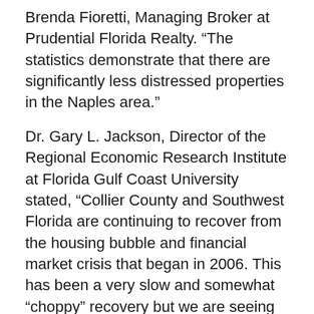Brenda Fioretti, Managing Broker at Prudential Florida Realty. “The statistics demonstrate that there are significantly less distressed properties in the Naples area.”
Dr. Gary L. Jackson, Director of the Regional Economic Research Institute at Florida Gulf Coast University stated, “Collier County and Southwest Florida are continuing to recover from the housing bubble and financial market crisis that began in 2006. This has been a very slow and somewhat “choppy” recovery but we are seeing improvements in our local economy. Collier County taxable sales were $651.3 million in December 2012, four-percent higher than December 2011 indicating improvement in consumer spending. Passenger traffic at